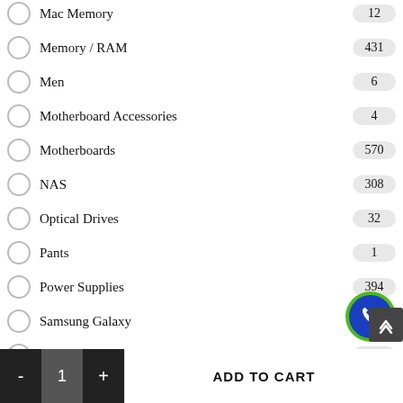Mac Memory — 12
Memory / RAM — 431
Men — 6
Motherboard Accessories — 4
Motherboards — 570
NAS — 308
Optical Drives — 32
Pants — 1
Power Supplies — 394
Samsung Galaxy — 4
SAS Drives — 16
Server Memory — 20
Shirts
Shoes (partial)
- 1 + ADD TO CART